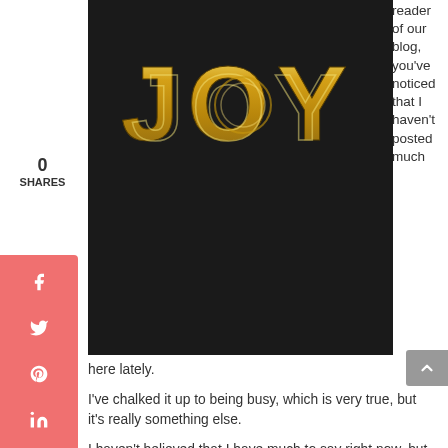[Figure (photo): Dark background photo with gold 3D letters spelling JOY]
reader of our blog, you've noticed that I haven't posted much here lately.
0
SHARES
I've chalked it up to being busy, which is very true, but it's really something else.
I haven't believed that I have much to say right now, but I don't think that's exactly right, either.
I do have something to say, but it doesn't exactly fit in with our usual message...you know, here at Imperfect Wives we talk about facing the challenges of life and